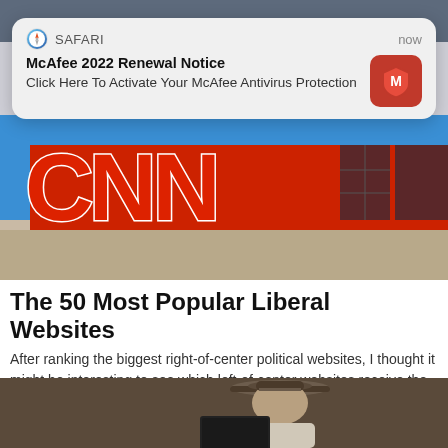[Figure (screenshot): Top strip of blurred background image visible at very top of page]
[Figure (screenshot): Safari iOS push notification banner showing McAfee 2022 Renewal Notice with McAfee shield icon]
[Figure (photo): CNN logo building sign with large red CNN letters against blue sky background]
The 50 Most Popular Liberal Websites
After ranking the biggest right-of-center political websites, I thought it might be interesting to see which left-of-center websites receive the most traffic. So, I went ...
[Figure (photo): Black and white photo of a man in a hat holding a laptop computer]